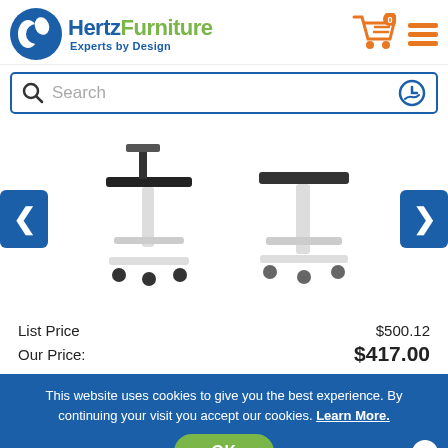[Figure (logo): Hertz Furniture logo with blue circle icon and text 'Hertz Furniture - Experts by Design']
[Figure (screenshot): Search bar with magnifying glass icon and 'Search' placeholder text, with history icon on right]
[Figure (photo): Two mobile laptop/tablet standing desks on wheels with adjustable height, white frames with dark tops. Left arrow and right arrow navigation buttons on either side.]
List Price $500.12
Our Price: $417.00
This website uses cookies to give you the best experience. By continuing your visit you accept our cookies. Learn More.
OK